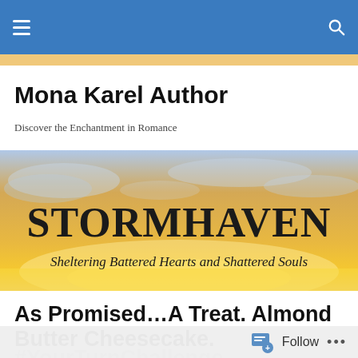Navigation bar with hamburger menu and search icon
Mona Karel Author
Discover the Enchantment in Romance
[Figure (illustration): Stormhaven banner: orange/golden sunset sky with text 'STORMHAVEN' and subtitle 'Sheltering Battered Hearts and Shattered Souls']
As Promised…A Treat. Almond Butter Cheesecake.
#YourTurnChallenge
Follow ...